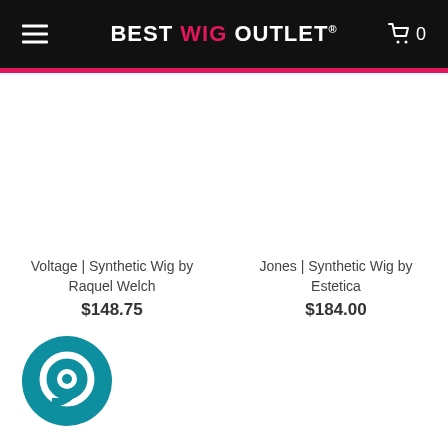Best Wig Outlet
Voltage | Synthetic Wig by Raquel Welch
$148.75
Jones | Synthetic Wig by Estetica
$184.00
[Figure (logo): Teal circular chat/messaging app icon in bottom left corner]